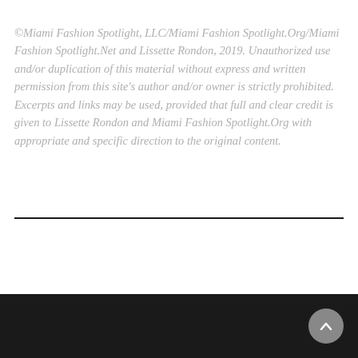©Miami Fashion Spotlight, LLC/Miami Fashion Spotlight.Org/Miami Fashion Spotlight.Net and Lissette Rondon, 2019. Unauthorized use and/or duplication of this material without express and written permission from this site's author and/or owner is strictly prohibited. Excerpts and links may be used, provided that full and clear credit is given to Lissette Rondon and Miami Fashion Spotlight.Org with appropriate and specific direction to the original content.